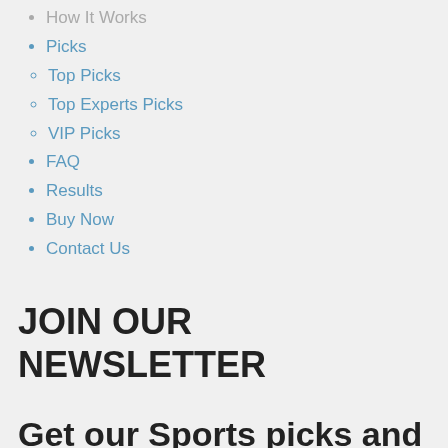How It Works
Picks
Top Picks
Top Experts Picks
VIP Picks
FAQ
Results
Buy Now
Contact Us
JOIN OUR NEWSLETTER
Get our Sports picks and Results